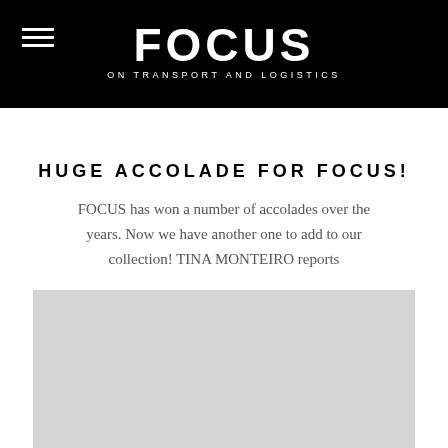FOCUS ON TRANSPORT AND LOGISTICS
HUGE ACCOLADE FOR FOCUS!
FOCUS has won a number of accolades over the years. Now we have another one to add to our collection! TINA MONTEIRO reports
READ MORE
[Figure (photo): Large light grey image placeholder below the article text]